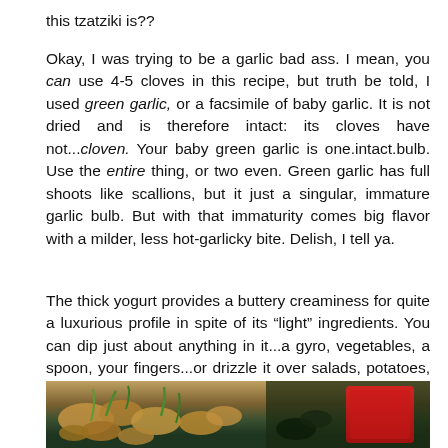this tzatziki is??
Okay, I was trying to be a garlic bad ass. I mean, you can use 4-5 cloves in this recipe, but truth be told, I used green garlic, or a facsimile of baby garlic. It is not dried and is therefore intact: its cloves have not...cloven. Your baby green garlic is one.intact.bulb. Use the entire thing, or two even. Green garlic has full shoots like scallions, but it just a singular, immature garlic bulb. But with that immaturity comes big flavor with a milder, less hot-garlicky bite. Delish, I tell ya.
The thick yogurt provides a buttery creaminess for quite a luxurious profile in spite of its “light” ingredients. You can dip just about anything in it...a gyro, vegetables, a spoon, your fingers...or drizzle it over salads, potatoes, poultry or seafood. Dip and drizzle away, guilt free!
[Figure (photo): Food photo showing cooked/roasted items with green vegetables and a red container in the background]